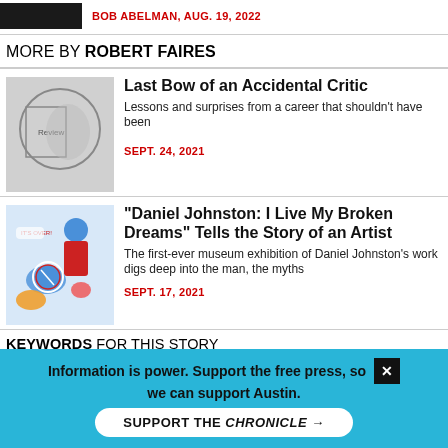BOB ABELMAN, AUG. 19, 2022
MORE BY ROBERT FAIRES
Last Bow of an Accidental Critic
Lessons and surprises from a career that shouldn't have been
SEPT. 24, 2021
"Daniel Johnston: I Live My Broken Dreams" Tells the Story of an Artist
The first-ever museum exhibition of Daniel Johnston's work digs deep into the man, the myths
SEPT. 17, 2021
KEYWORDS FOR THIS STORY
Austin Playhouse, Don Toner, David Stahl, Huck Huckaby, Rick Roemer, Scott Shipman, Toby Minor, Jeffrey Hatcher, Sherlock Holmes, Arthur Conan Doyle
Information is power. Support the free press, so we can support Austin. SUPPORT THE CHRONICLE →